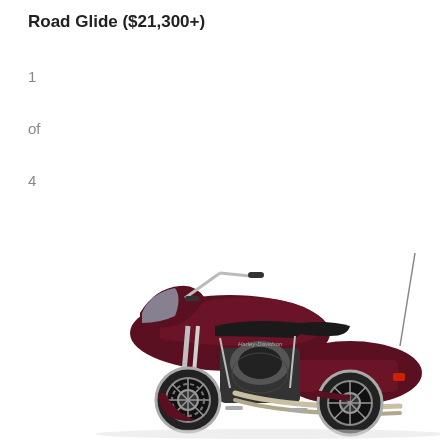Road Glide ($21,300+)
1
of
4
[Figure (photo): Side profile view of a Harley-Davidson Road Glide motorcycle in dark maroon/burgundy color with chrome accents, black seat, and saddlebags, on a white background.]